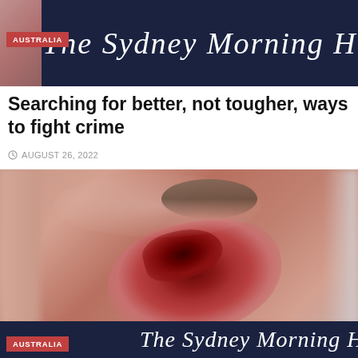[Figure (photo): Top banner showing The Sydney Morning Herald masthead on dark navy background with Australia category badge]
Searching for better, not tougher, ways to fight crime
AUGUST 26, 2022
[Figure (photo): Close-up photograph of a facial injury showing bruising and a wound, published alongside the article about crime. The Sydney Morning Herald masthead and AUSTRALIA badge appear overlaid at the bottom.]